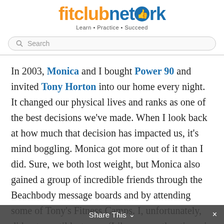[Figure (logo): fitclubnetwork logo with orange 'fitclub' text, blue 'network' text with thumbs-up icon, and tagline 'Learn • Practice • Succeed']
Search
In 2003, Monica and I bought Power 90 and invited Tony Horton into our home every night. It changed our physical lives and ranks as one of the best decisions we've made. When I look back at how much that decision has impacted us, it's mind boggling. Monica got more out of it than I did. Sure, we both lost weight, but Monica also gained a group of incredible friends through the Beachbody message boards and by attending some of Tony's Fitness Camps. I, unfortunately, did not...until last year. (Like many other times in my life, I should have listened to
Share This ∨  ×